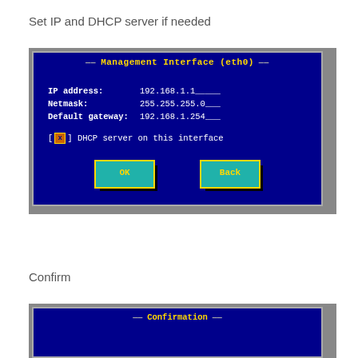Set IP and DHCP server if needed
[Figure (screenshot): Management Interface (eth0) configuration dialog showing IP address: 192.168.1.1, Netmask: 255.255.255.0, Default gateway: 192.168.1.254, checkbox for DHCP server on this interface, OK and Back buttons]
Confirm
[Figure (screenshot): Confirmation dialog box partial view]